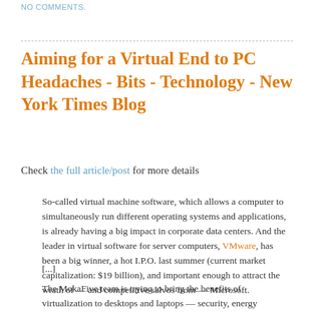NO COMMENTS.
Aiming for a Virtual End to PC Headaches - Bits - Technology - New York Times Blog
Check the full article/post for more details
So-called virtual machine software, which allows a computer to simultaneously run different operating systems and applications, is already having a big impact in corporate data centers. And the leader in virtual software for server computers, VMware, has been a big winner, a hot I.P.O. last summer (current market capitalization: $19 billion), and important enough to attract the wrath of — and competitive salvos from — Microsoft.
[...]
The MokaFive team is trying to bring the benefits of virtualization to desktops and laptops — security, energy efficiency, flexibility and less need for technical support